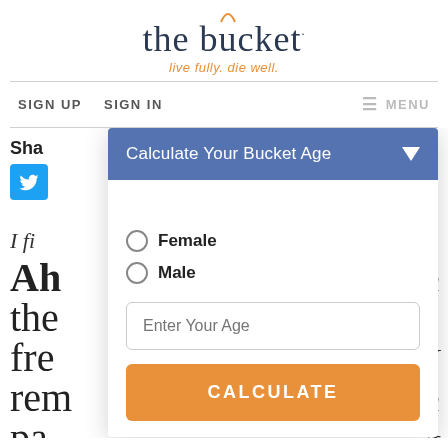[Figure (logo): The Bucket logo with arc over 'u', tagline 'live fully. die well.']
SIGN UP   SIGN IN   ≡ MENU
Sha…
I fi…
Ah…  in
the…
fre…  y. I
rem…  in
pa…  't
[Figure (screenshot): Modal dialog 'Calculate Your Bucket Age' with Female/Male radio buttons, Enter Your Age input field, and CALCULATE button]